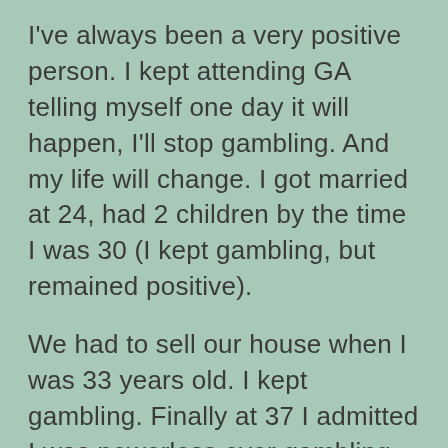I've always been a very positive person. I kept attending GA telling myself one day it will happen, I'll stop gambling. And my life will change. I got married at 24, had 2 children by the time I was 30 (I kept gambling, but remained positive).
We had to sell our house when I was 33 years old. I kept gambling. Finally at 37 I admitted I was powerless over gambling - my life had become unmanageable. I finally stopped through positive thinking, and my life changed. I'm 41 now and it's the happiest time of my life.